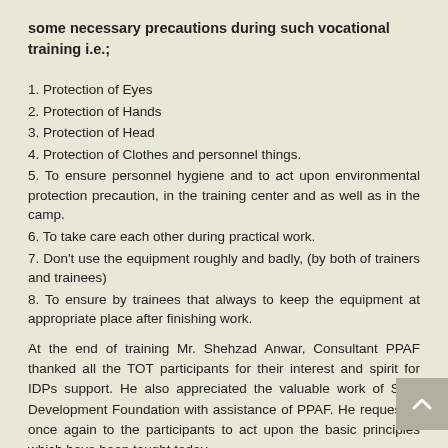some necessary precautions during such vocational training i.e.;
1. Protection of Eyes
2. Protection of Hands
3. Protection of Head
4. Protection of Clothes and personnel things.
5. To ensure personnel hygiene and to act upon environmental protection precaution, in the training center and as well as in the camp.
6. To take care each other during practical work.
7. Don't use the equipment roughly and badly, (by both of trainers and trainees)
8. To ensure by trainees that always to keep the equipment at appropriate place after finishing work.
At the end of training Mr. Shehzad Anwar, Consultant PPAF thanked all the TOT participants for their interest and spirit for IDPs support. He also appreciated the valuable work of Salik Development Foundation with assistance of PPAF. He requested once again to the participants to act upon the basic principles which have been taught today.